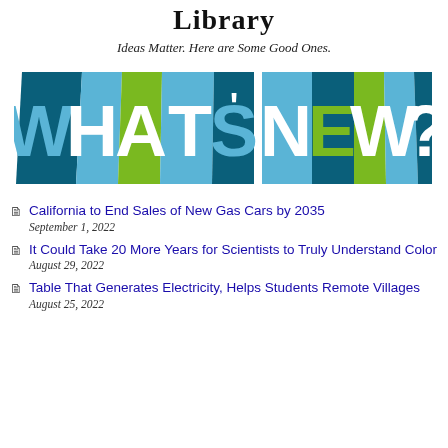Library
Ideas Matter. Here are Some Good Ones.
[Figure (illustration): Colorful folded book-spine style banner reading WHAT'S NEW? in large white letters on teal, light blue, and green panels]
California to End Sales of New Gas Cars by 2035
September 1, 2022
It Could Take 20 More Years for Scientists to Truly Understand Color
August 29, 2022
Table That Generates Electricity, Helps Students Remote Villages
August 25, 2022